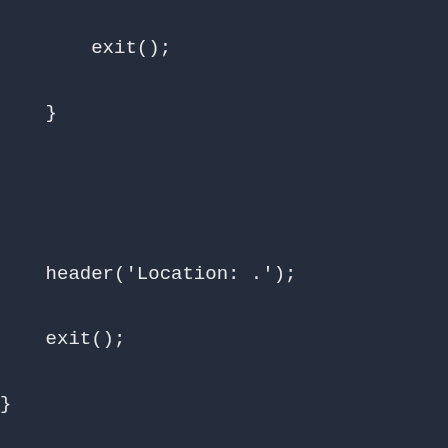exit();

    }




    header('Location: .');

    exit();

}